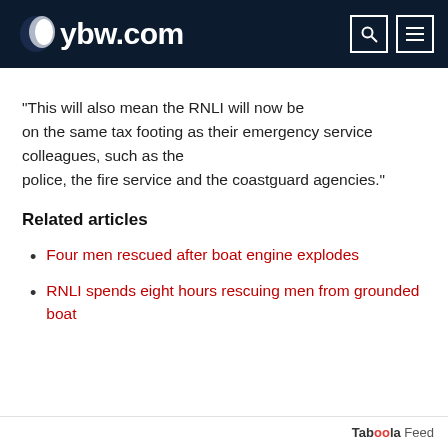ybw.com
“This will also mean the RNLI will now be on the same tax footing as their emergency service colleagues, such as the police, the fire service and the coastguard agencies.”
Related articles
Four men rescued after boat engine explodes
RNLI spends eight hours rescuing men from grounded boat
Taboola Feed